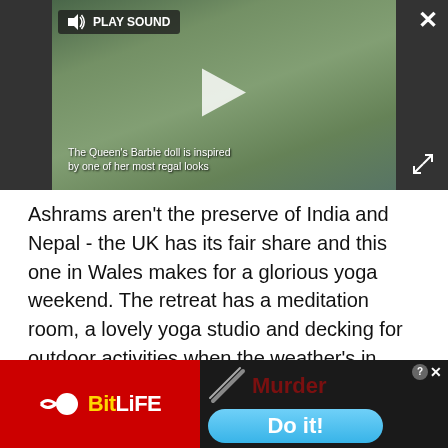[Figure (screenshot): Video player showing a blurred image of a woman. Controls include a speaker/play sound button, close X button, play button in center, and expand icon. Caption reads: The Queen's Barbie doll is inspired by one of her most regal looks]
Ashrams aren't the preserve of India and Nepal - the UK has its fair share and this one in Wales makes for a glorious yoga weekend. The retreat has a meditation room, a lovely yoga studio and decking for outdoor activities when the weather's in your favour. Accommodation is simple but comfortable in twin or double rooms on site. They combine their yoga retreats with detox weekends too, so zen out in downward dog before cooking up a delicious vegetarian meal that's good for your insides as well as
[Figure (screenshot): Advertisement banner: Left side red background with BitLife logo (sperm icon + BitLiFE in yellow/white text). Right side dark background with knife graphic, 'Murder' text in dark red, 'Do it!' button in blue, and close/question mark icons.]